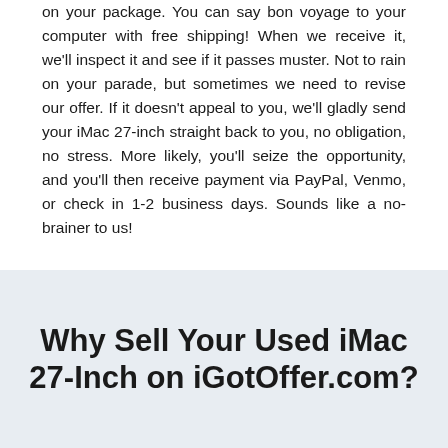on your package. You can say bon voyage to your computer with free shipping! When we receive it, we'll inspect it and see if it passes muster. Not to rain on your parade, but sometimes we need to revise our offer. If it doesn't appeal to you, we'll gladly send your iMac 27-inch straight back to you, no obligation, no stress. More likely, you'll seize the opportunity, and you'll then receive payment via PayPal, Venmo, or check in 1-2 business days. Sounds like a no-brainer to us!
Why Sell Your Used iMac 27-Inch on iGotOffer.com?